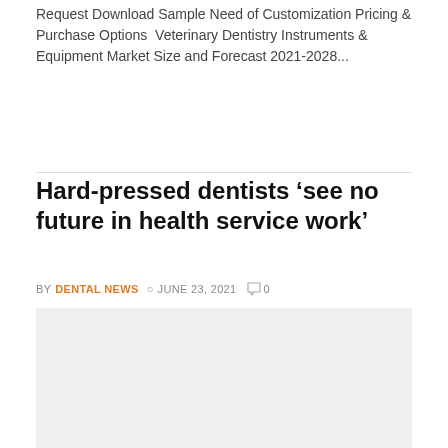Request Download Sample Need of Customization Pricing & Purchase Options  Veterinary Dentistry Instruments & Equipment Market Size and Forecast 2021-2028...
Hard-pressed dentists ‘see no future in health service work’
BY DENTAL NEWS  © JUNE 23, 2021  ◦ 0
[Figure (photo): Light grey image placeholder for article photo]
Dental services in Northern Ireland are “broken”, while morale among dentists has collapsed, it has been warned. he British